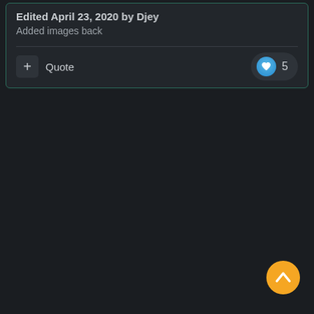Edited April 23, 2020 by Djey
Added images back
[Figure (screenshot): Forum post action bar with a + button, Quote text, and a heart like button showing count of 5]
[Figure (illustration): Orange circular scroll-to-top button with an upward chevron arrow, positioned in the bottom right corner]